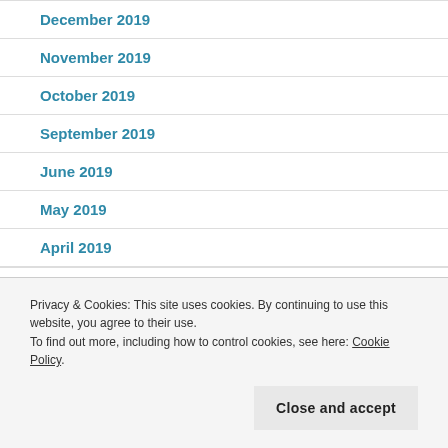December 2019
November 2019
October 2019
September 2019
June 2019
May 2019
April 2019
Privacy & Cookies: This site uses cookies. By continuing to use this website, you agree to their use. To find out more, including how to control cookies, see here: Cookie Policy
Close and accept